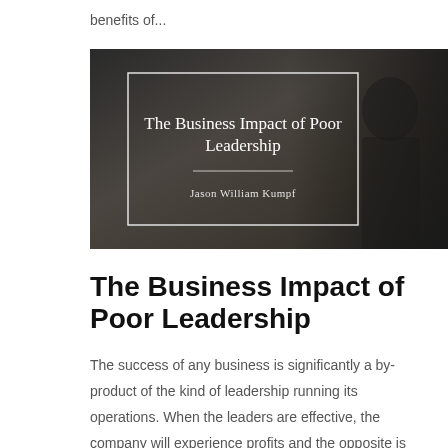benefits of...
[Figure (photo): Book cover image with dark background showing a man in a suit, with a white bordered rectangle overlay containing the text 'The Business Impact of Poor Leadership' and author name 'Jason William Kumpf']
The Business Impact of Poor Leadership
The success of any business is significantly a by-product of the kind of leadership running its operations. When the leaders are effective, the company will experience profits and the opposite is also true. The limitations of the leaders in any